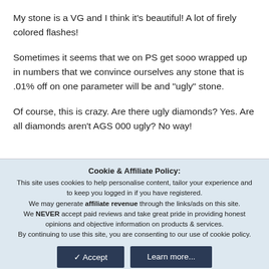My stone is a VG and I think it's beautiful! A lot of firely colored flashes!
Sometimes it seems that we on PS get sooo wrapped up in numbers that we convince ourselves any stone that is .01% off on one parameter will be and "ugly" stone.
Of course, this is crazy. Are there ugly diamonds? Yes. Are all diamonds aren't AGS 000 ugly? No way!
Cookie & Affiliate Policy:
This site uses cookies to help personalise content, tailor your experience and to keep you logged in if you have registered.
We may generate affiliate revenue through the links/ads on this site.
We NEVER accept paid reviews and take great pride in providing honest opinions and objective information on products & services.
By continuing to use this site, you are consenting to our use of cookie policy.